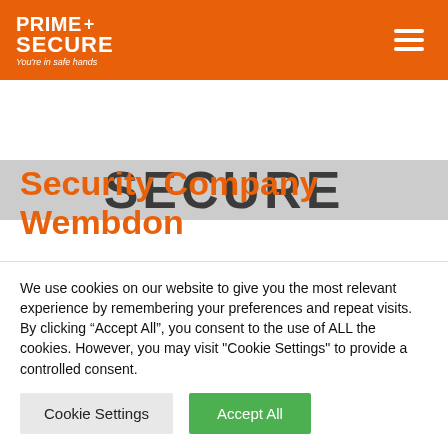PRIME+ SECURE You're in safe hands
[Figure (screenshot): Partial hero image showing large bold text 'SECURE' partially cropped]
Security Company Wembdon
Prime Protects offers a range of services backed by not simply comprehensive
We use cookies on our website to give you the most relevant experience by remembering your preferences and repeat visits. By clicking "Accept All", you consent to the use of ALL the cookies. However, you may visit "Cookie Settings" to provide a controlled consent.